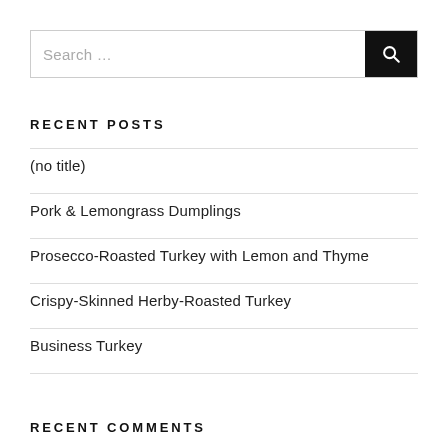[Figure (other): Search bar with text 'Search …' and a black search button with magnifying glass icon]
RECENT POSTS
(no title)
Pork & Lemongrass Dumplings
Prosecco-Roasted Turkey with Lemon and Thyme
Crispy-Skinned Herby-Roasted Turkey
Business Turkey
RECENT COMMENTS